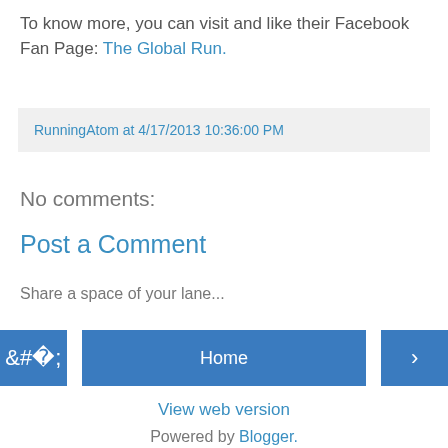To know more, you can visit and like their Facebook Fan Page: The Global Run.
RunningAtom at 4/17/2013 10:36:00 PM
No comments:
Post a Comment
Share a space of your lane...
‹ Home › View web version Powered by Blogger.